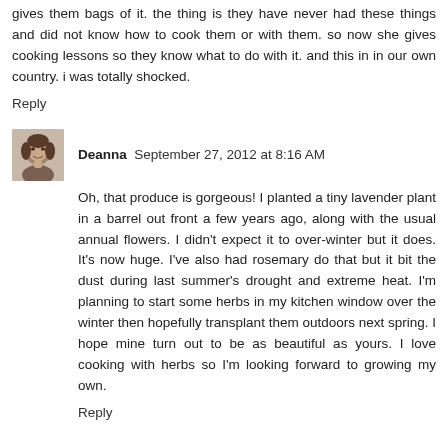gives them bags of it. the thing is they have never had these things and did not know how to cook them or with them. so now she gives cooking lessons so they know what to do with it. and this in in our own country. i was totally shocked.
Reply
[Figure (photo): Avatar photo of Deanna, a woman smiling, in black and white / sepia tone]
Deanna  September 27, 2012 at 8:16 AM
Oh, that produce is gorgeous! I planted a tiny lavender plant in a barrel out front a few years ago, along with the usual annual flowers. I didn't expect it to over-winter but it does. It's now huge. I've also had rosemary do that but it bit the dust during last summer's drought and extreme heat. I'm planning to start some herbs in my kitchen window over the winter then hopefully transplant them outdoors next spring. I hope mine turn out to be as beautiful as yours. I love cooking with herbs so I'm looking forward to growing my own.
Reply